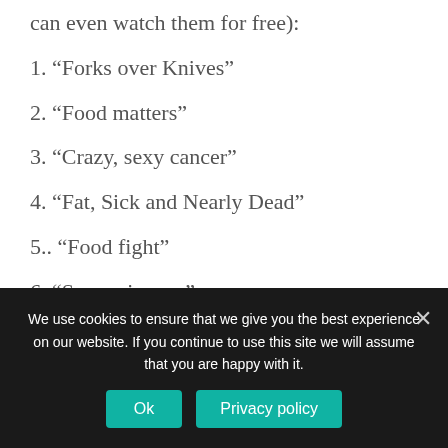can even watch them for free):
1. “Forks over Knives”
2. “Food matters”
3. “Crazy, sexy cancer”
4. “Fat, Sick and Nearly Dead”
5.. “Food fight”
6. “Super size me”
We use cookies to ensure that we give you the best experience on our website. If you continue to use this site we will assume that you are happy with it.